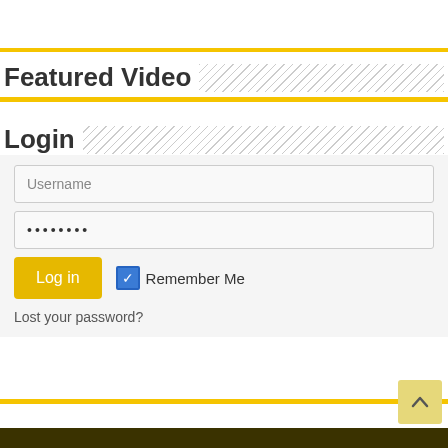Featured Video
Login
Username
••••••••
Log in
Remember Me
Lost your password?